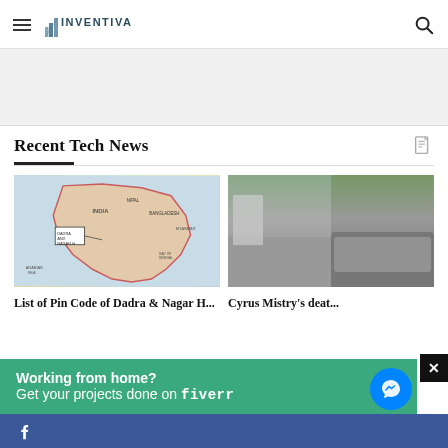INVENTIVA — navigation header with hamburger menu, logo, and search icon
[Figure (other): Advertisement banner placeholder (gray background)]
Recent Tech News
[Figure (map): Map of India showing Dadra and Nagar Haveli region highlighted]
[Figure (photo): Two-panel photo of a road accident — damaged vehicles on highway]
List of Pin Code of Dadra & Nagar H...
Cyrus Mistry's deat...
[Figure (other): Fiverr advertisement overlay: 'Working from home? Get your projects done on fiverr']
[Figure (other): Facebook Messenger chat bubble icon, bottom right]
[Figure (other): Close button (X) top right of messenger overlay]
Facebook bottom bar with Facebook icon